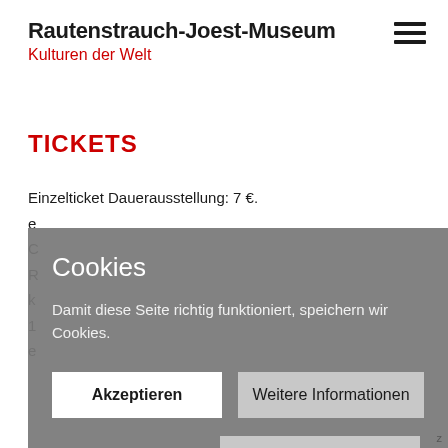Rautenstrauch-Joest-Museum
Kulturen der Welt
TICKETS
Einzelticket Dauerausstellung: 7 €.
[Figure (screenshot): Cookie consent overlay dialog on museum website. Title: 'Cookies'. Body: 'Damit diese Seite richtig funktioniert, speichern wir Cookies.' Buttons: 'Akzeptieren', 'Weitere Informationen', 'Einstellungen'.]